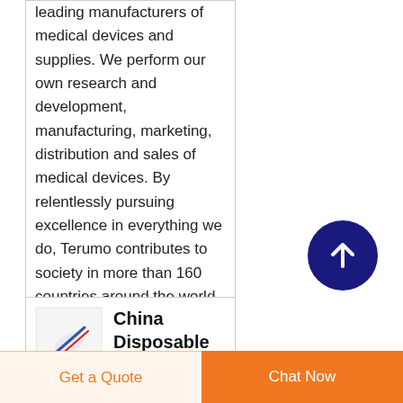leading manufacturers of medical devices and supplies. We perform our own research and development, manufacturing, marketing, distribution and sales of medical devices. By relentlessly pursuing excellence in everything we do, Terumo contributes to society in more than 160 countries around the world. Previous Slide.
[Figure (other): Dark navy blue circular scroll-to-top button with white upward arrow icon]
[Figure (photo): Small product thumbnail image showing a disposable medical device (syringe/pen-like object) on white background]
China Disposable